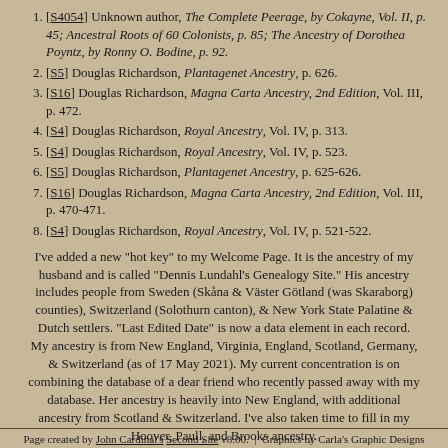[S4054] Unknown author, The Complete Peerage, by Cokayne, Vol. II, p. 45; Ancestral Roots of 60 Colonists, p. 85; The Ancestry of Dorothea Poyntz, by Ronny O. Bodine, p. 92.
[S5] Douglas Richardson, Plantagenet Ancestry, p. 626.
[S16] Douglas Richardson, Magna Carta Ancestry, 2nd Edition, Vol. III, p. 472.
[S4] Douglas Richardson, Royal Ancestry, Vol. IV, p. 313.
[S4] Douglas Richardson, Royal Ancestry, Vol. IV, p. 523.
[S5] Douglas Richardson, Plantagenet Ancestry, p. 625-626.
[S16] Douglas Richardson, Magna Carta Ancestry, 2nd Edition, Vol. III, p. 470-471.
[S4] Douglas Richardson, Royal Ancestry, Vol. IV, p. 521-522.
I've added a new "hot key" to my Welcome Page. It is the ancestry of my husband and is called "Dennis Lundahl's Genealogy Site." His ancestry includes people from Sweden (Skåna & Väster Götland (was Skaraborg) counties), Switzerland (Solothurn canton), & New York State Palatine & Dutch settlers. "Last Edited Date" is now a data element in each record. My ancestry is from New England, Virginia, England, Scotland, Germany, & Switzerland (as of 17 May 2021). My current concentration is on combining the database of a dear friend who recently passed away with my database. Her ancestry is heavily into New England, with additional ancestry from Scotland & Switzerland. I've also taken time to fill in my Hoover, Paull, and Brooks ancestry.
Compiler: Mr. Marlyn Lewis, Portland, OR
Page created by John Cardinal's Second Site v8.00.  |  Graphics by Carla's Graphic Designs